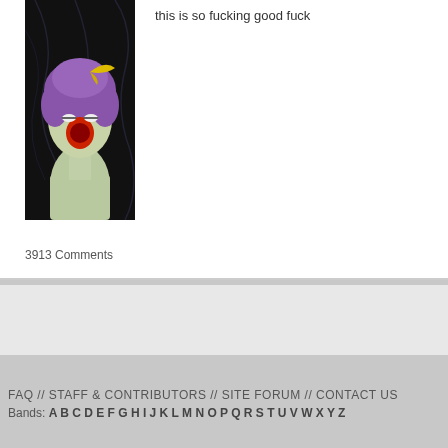[Figure (illustration): Anime-style illustration of a figure with purple hair and yellow accessory, mouth open, dark background with tendrils]
this is so fucking good fuck
3913 Comments
Add a Comment:
You have to be logged in t
FAQ // STAFF & CONTRIBUTORS // SITE FORUM // CONTACT US
Bands: A B C D E F G H I J K L M N O P Q R S T U V W X Y Z